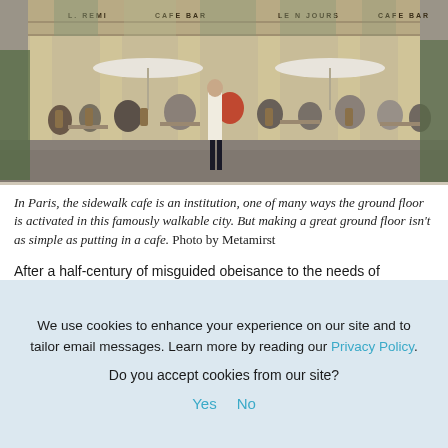[Figure (photo): Outdoor photo of a Parisian sidewalk cafe scene. People seated at tables with wicker chairs in front of a building with large columns and signs reading CAFE BAR and LE N JOURS. A waiter in white apron walks through. White umbrellas visible.]
In Paris, the sidewalk cafe is an institution, one of many ways the ground floor is activated in this famously walkable city. But making a great ground floor isn't as simple as putting in a cafe. Photo by Metamirst
After a half-century of misguided obeisance to the needs of automobiles, we have begun the long process of reclaiming our cities' streets for people. This issue of The Urbanist is devoted
We use cookies to enhance your experience on our site and to tailor email messages. Learn more by reading our Privacy Policy.

Do you accept cookies from our site?

Yes   No